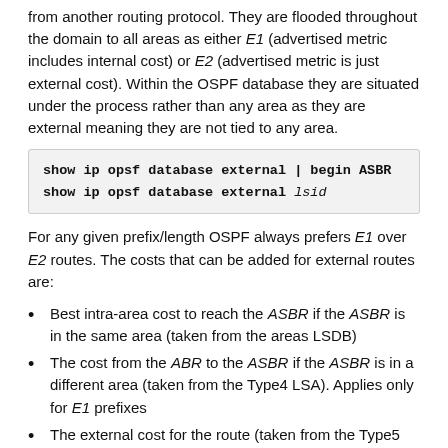from another routing protocol. They are flooded throughout the domain to all areas as either E1 (advertised metric includes internal cost) or E2 (advertised metric is just external cost). Within the OSPF database they are situated under the process rather than any area as they are external meaning they are not tied to any area.
show ip opsf database external | begin ASBR
show ip opsf database external lsid
For any given prefix/length OSPF always prefers E1 over E2 routes. The costs that can be added for external routes are:
Best intra-area cost to reach the ASBR if the ASBR is in the same area (taken from the areas LSDB)
The cost from the ABR to the ASBR if the ASBR is in a different area (taken from the Type4 LSA). Applies only for E1 prefixes
The external cost for the route (taken from the Type5 LSA)
E2 is just the seed metric (what redistribution adds) that is advertised to others. This is never incremented and is put in